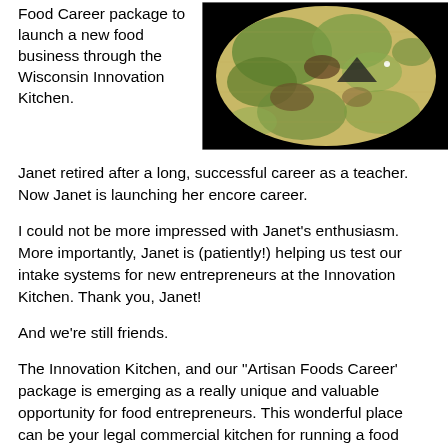Food Career package to launch a new food business through the Wisconsin Innovation Kitchen.
[Figure (photo): Aerial or satellite-style image of a green and brown landscape/terrain, circular composition on black background.]
Janet retired after a long, successful career as a teacher. Now Janet is launching her encore career.
I could not be more impressed with Janet's enthusiasm. More importantly, Janet is (patiently!) helping us test our intake systems for new entrepreneurs at the Innovation Kitchen. Thank you, Janet!
And we're still friends.
The Innovation Kitchen, and our "Artisan Foods Career' package is emerging as a really unique and valuable opportunity for food entrepreneurs. This wonderful place can be your legal commercial kitchen for running a food business from wherever you live that can ship world wide.